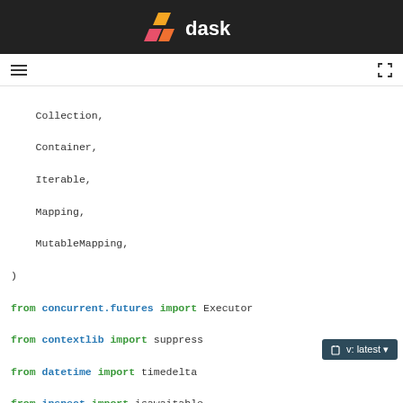[Figure (logo): Dask logo with orange/red geometric shape and white text 'dask' on dark background header bar]
[Figure (screenshot): Toolbar with hamburger menu icon on left and fullscreen icon on right]
Collection,
    Container,
    Iterable,
    Mapping,
    MutableMapping,
)
from concurrent.futures import Executor
from contextlib import suppress
from datetime import timedelta
from inspect import isawaitable
from typing import TYPE_CHECKING, Any, ClassVar, Literal,

from tlz import first, keymap, pluck
from tornado.ioloop import IOLoop, PeriodicCallback

import dask
from dask.core import istask
from dask.system import CPU_COUNT
from dask.utils import (